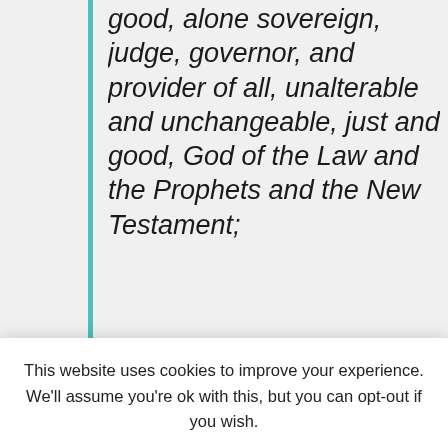good, alone sovereign, judge, governor, and provider of all, unalterable and unchangeable, just and good, God of the Law and the Prophets and the New Testament;
This website uses cookies to improve your experience. We'll assume you're ok with this, but you can opt-out if you wish. Accept  Read More
that he made him subsist at his own will, unalterable and unchangeable, the perfect creature (ktisma) of God, but not as one of the creatures; offspring, but not as one of the other things begotten;